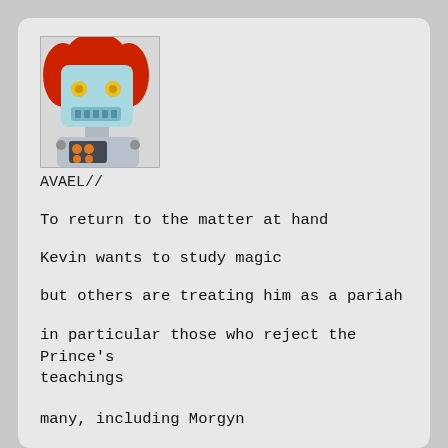[Figure (illustration): Robot avatar with red hair, light blue face with yellow eyes, silver body with orange buttons, wearing a gray suit]
AVAEL//
To return to the matter at hand
Kevin wants to study magic
but others are treating him as a pariah
in particular those who reject the Prince's teachings
many, including Morgyn